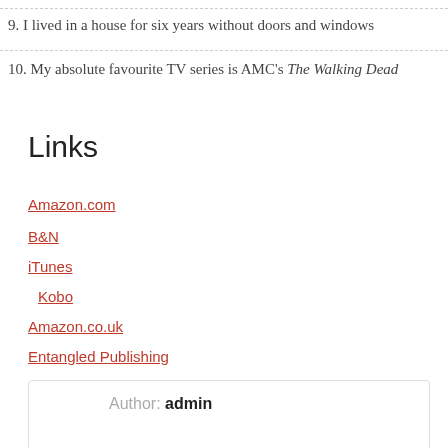9. I lived in a house for six years without doors and windows
10. My absolute favourite TV series is AMC's The Walking Dead
Links
Amazon.com
B&N
iTunes
Kobo
Amazon.co.uk
Entangled Publishing
[Figure (photo): Author bio box with book cover photo (Soul's Day) on the left and author name 'admin' on the right]
Author: admin